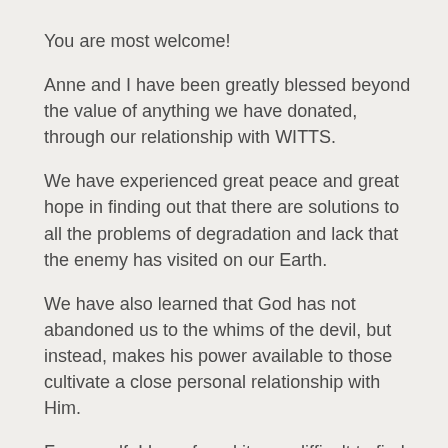You are most welcome!
Anne and I have been greatly blessed beyond the value of anything we have donated, through our relationship with WITTS.
We have experienced great peace and great hope in finding out that there are solutions to all the problems of degradation and lack that the enemy has visited on our Earth.
We have also learned that God has not abandoned us to the whims of the devil, but instead, makes his power available to those cultivate a close personal relationship with Him.
For myself, I have found it very difficult to find a spiritual home where I am comfortable with the teaching and the